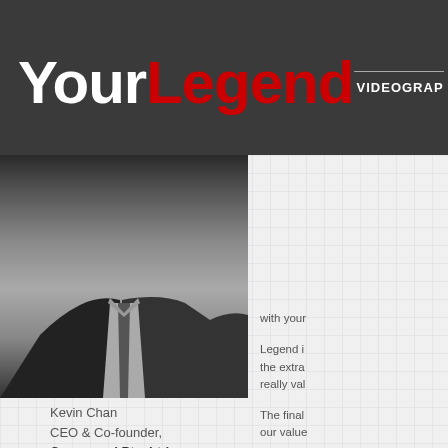YourLegend  VIDEOGRAPH
[Figure (photo): Black and white photo of a man in a dark suit, cropped to show torso and partial face]
Kevin Chan
CEO & Co-founder,
Coursepad Pte. Ltd.
with your
Legend i the extra really val
The final our value
Would y
I would startups I recomm dollars —